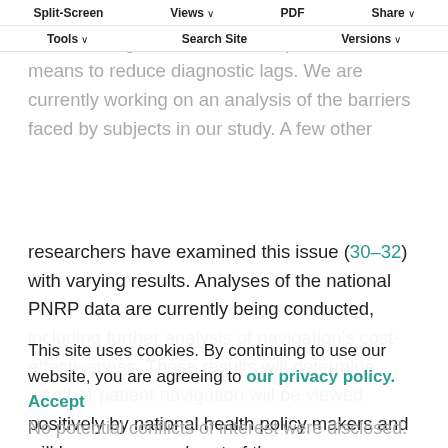Split-Screen  Views  PDF  Share  Tools  Search Site  Versions
and have a diagnostic resolution of cancer. Patient navigation should be implemented as a means to reduce diagnostic lags. We are currently working on an analysis of the barriers faced by subjects in our study. A few other researchers have examined this issue (30–32) with varying results. Analyses of the national PNRP data are currently being conducted, including further analysis of navigation's cost-effectiveness. These results will determine whether patient navigation will be viewed positively by national health policy makers and will become a usual part of the cancer care process with insurance reimbursement for patient navigation.
This site uses cookies. By continuing to use our website, you are agreeing to our privacy policy. Accept
No potential conflicts of interest were disclosed.